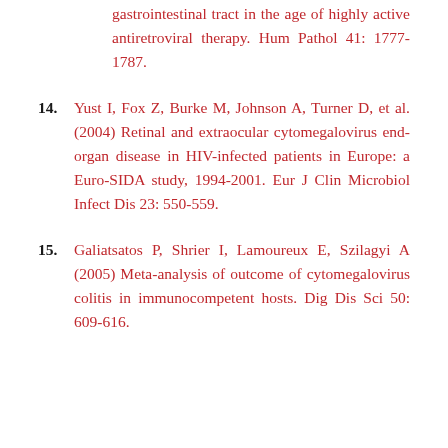gastrointestinal tract in the age of highly active antiretroviral therapy. Hum Pathol 41: 1777-1787.
14. Yust I, Fox Z, Burke M, Johnson A, Turner D, et al. (2004) Retinal and extraocular cytomegalovirus end-organ disease in HIV-infected patients in Europe: a Euro-SIDA study, 1994-2001. Eur J Clin Microbiol Infect Dis 23: 550-559.
15. Galiatsatos P, Shrier I, Lamoureux E, Szilagyi A (2005) Meta-analysis of outcome of cytomegalovirus colitis in immunocompetent hosts. Dig Dis Sci 50: 609-616.